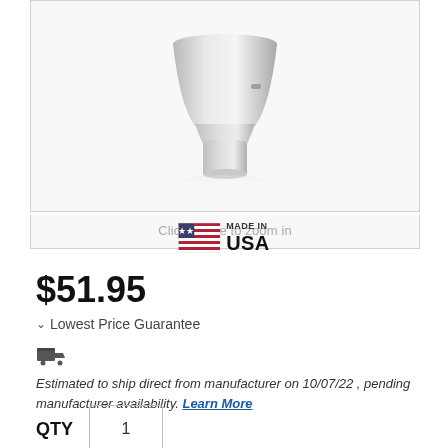[Figure (photo): Product photo of a silver/chrome metal component (appears to be a plumbing or automotive part) on white background]
Click image to zoom in
[Figure (illustration): Made in USA badge with American flag icon and text 'MADE IN USA']
$51.95
Lowest Price Guarantee
Estimated to ship direct from manufacturer on 10/07/22 , pending manufacturer availability. Learn More
QTY  1